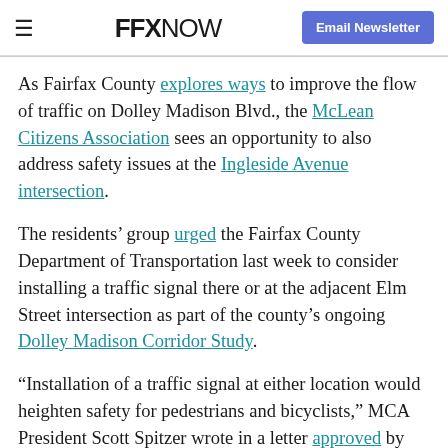FFX NOW | Email Newsletter
As Fairfax County explores ways to improve the flow of traffic on Dolley Madison Blvd., the McLean Citizens Association sees an opportunity to also address safety issues at the Ingleside Avenue intersection.
The residents’ group urged the Fairfax County Department of Transportation last week to consider installing a traffic signal there or at the adjacent Elm Street intersection as part of the county’s ongoing Dolley Madison Corridor Study.
“Installation of a traffic signal at either location would heighten safety for pedestrians and bicyclists,” MCA President Scott Spitzer wrote in a letter approved by the board of directors on Wednesday (July 6). “A signal at the Dolley Madison/Ingleside intersection would also